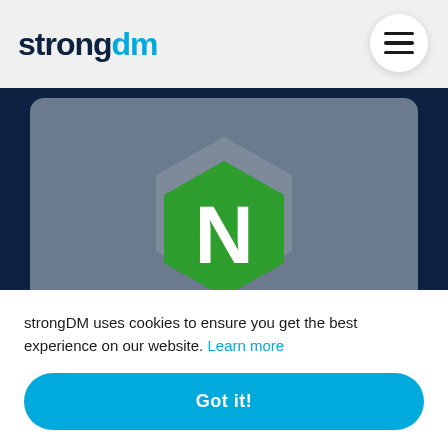[Figure (logo): strongDM logo in header - 'strong' in dark navy, 'dm' in cyan blue]
[Figure (illustration): NGINX logo - green hexagon with white N letter on gray card background]
Connect Redis & NGINX
[Figure (illustration): Partially visible logo with blue circle bracket icon on gray card background]
strongDM uses cookies to ensure you get the best experience on our website. Learn more
Got it!